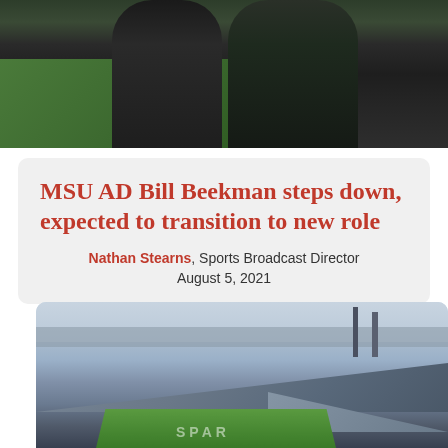[Figure (photo): Two people standing on a football field, wearing dark jackets, viewed from waist down against a green grass background]
MSU AD Bill Beekman steps down, expected to transition to new role
Nathan Stearns, Sports Broadcast Director
August 5, 2021
[Figure (photo): Aerial view of a large college football stadium with green field, surrounding blue/grey seating, light towers, and trees in the background under a hazy sky]